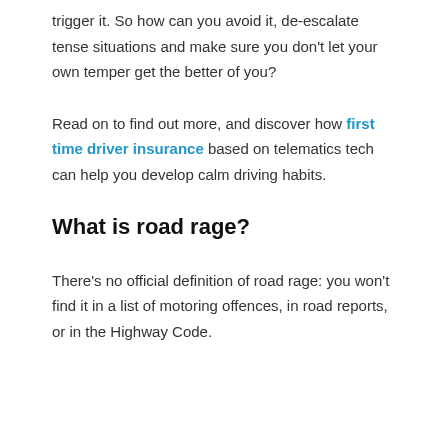trigger it. So how can you avoid it, de-escalate tense situations and make sure you don't let your own temper get the better of you?
Read on to find out more, and discover how first time driver insurance based on telematics tech can help you develop calm driving habits.
What is road rage?
There's no official definition of road rage: you won't find it in a list of motoring offences, in road reports, or in the Highway Code.